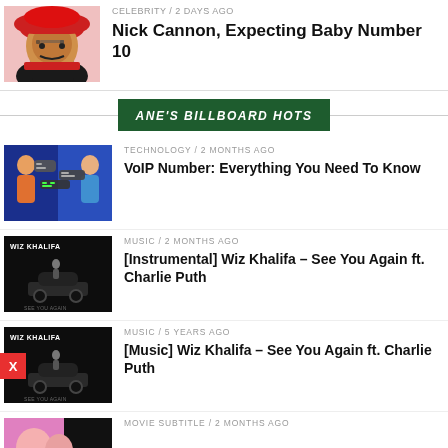[Figure (photo): Nick Cannon photo with red turban and glasses, smiling]
CELEBRITY / 2 days ago
Nick Cannon, Expecting Baby Number 10
ANE'S BILLBOARD HOTS
[Figure (photo): Technology article thumbnail with blue background and chat bubble icons]
TECHNOLOGY / 2 months ago
VoIP Number: Everything You Need To Know
[Figure (photo): Wiz Khalifa See You Again album cover - dark with car and figure silhouette]
MUSIC / 2 months ago
[Instrumental] Wiz Khalifa – See You Again ft. Charlie Puth
[Figure (photo): Wiz Khalifa See You Again album cover - dark with car and figure silhouette]
MUSIC / 5 years ago
[Music] Wiz Khalifa – See You Again ft. Charlie Puth
[Figure (photo): Movie subtitle article thumbnail - pink/colorful background]
MOVIE SUBTITLE / 2 months ago